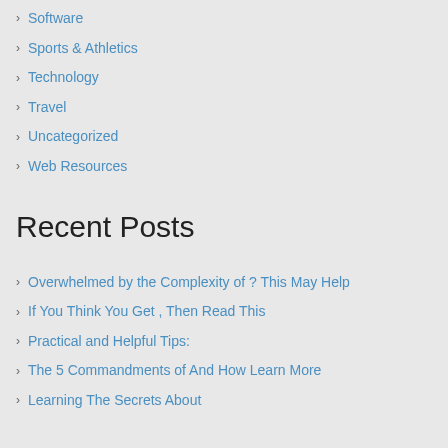Software
Sports & Athletics
Technology
Travel
Uncategorized
Web Resources
Recent Posts
Overwhelmed by the Complexity of ? This May Help
If You Think You Get , Then Read This
Practical and Helpful Tips:
The 5 Commandments of And How Learn More
Learning The Secrets About
Best Links